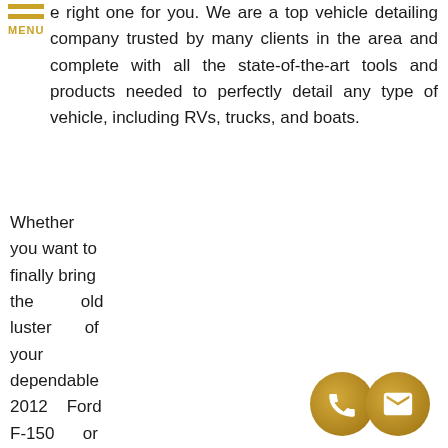[Figure (other): Hamburger menu icon with two golden horizontal bars and MENU label in gold]
e right one for you. We are a top vehicle detailing company trusted by many clients in the area and complete with all the state-of-the-art tools and products needed to perfectly detail any type of vehicle, including RVs, trucks, and boats.
Whether you want to finally bring the old luster of your dependable 2012 Ford F-150 or maximize the protection and longevity of your brand new 2021 Ram, our Indian Rocks Beach truck detailing experts at Mobile Detailing Service are the right people the job. We
[Figure (other): Two overlapping circular icons at bottom right: a phone icon and an email envelope icon, both with gold gradient background]